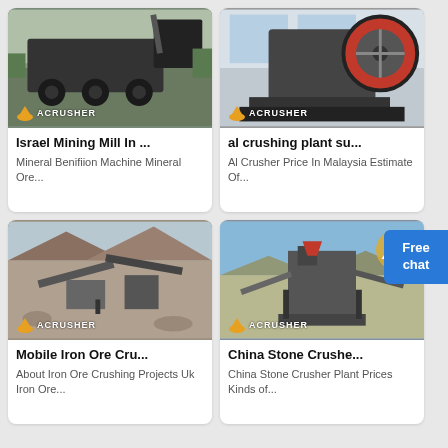[Figure (photo): Mobile mining truck/mill machine with ACRUSHER branding]
Israel Mining Mill In ...
Mineral Benifiion Machine Mineral Ore...
[Figure (photo): Jaw crusher machine indoors with ACRUSHER branding]
al crushing plant su...
Al Crusher Price In Malaysia Estimate Of...
[Figure (photo): Open-pit mining crushing operation with ACRUSHER branding]
Mobile Iron Ore Cru...
About Iron Ore Crushing Projects Uk Iron Ore...
[Figure (photo): Stone crusher plant in open landscape with ACRUSHER branding]
China Stone Crushe...
China Stone Crusher Plant Prices Kinds of...